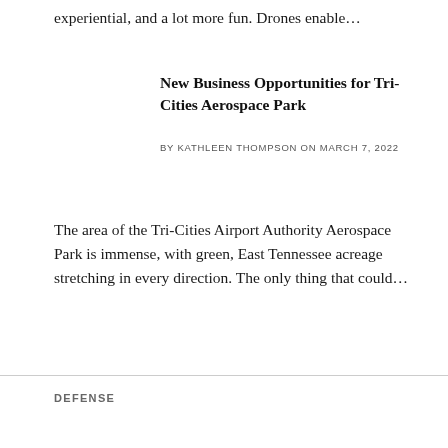experiential, and a lot more fun. Drones enable…
New Business Opportunities for Tri-Cities Aerospace Park
BY KATHLEEN THOMPSON ON MARCH 7, 2022
The area of the Tri-Cities Airport Authority Aerospace Park is immense, with green, East Tennessee acreage stretching in every direction. The only thing that could…
DEFENSE